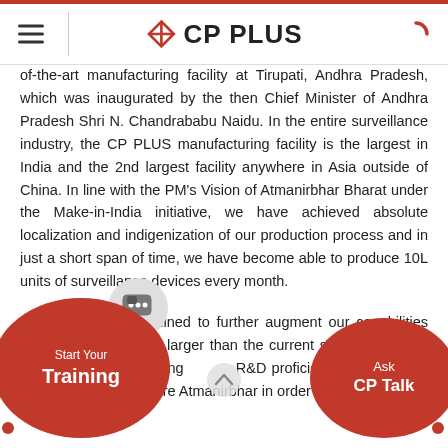CP PLUS
of-the-art manufacturing facility at Tirupati, Andhra Pradesh, which was inaugurated by the then Chief Minister of Andhra Pradesh Shri N. Chandrababu Naidu. In the entire surveillance industry, the CP PLUS manufacturing facility is the largest in India and the 2nd largest facility anywhere in Asia outside of China. In line with the PM's Vision of Atmanirbhar Bharat under the Make-in-India initiative, we have achieved absolute localization and indigenization of our production process and in just a short span of time, we have become able to produce 10L units of surveillance devices every month.
We are determined to further augment our capabilities many times larger than the current size, units per month and in the coming R&D proficiency, to make our brand more and more Atmanirbhar in order to accomplish the